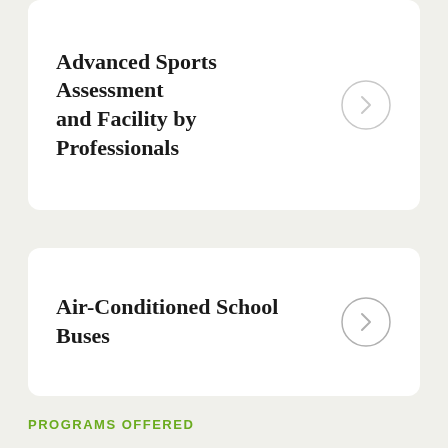Advanced Sports Assessment and Facility by Professionals
Air-Conditioned School Buses
PROGRAMS OFFERED